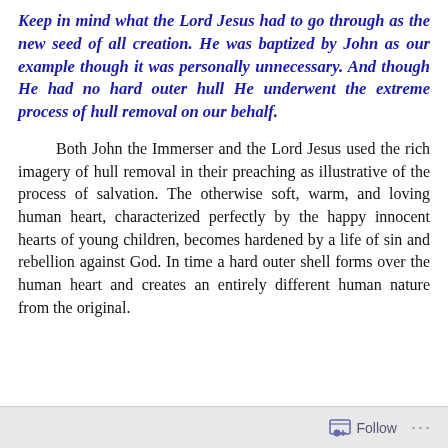Keep in mind what the Lord Jesus had to go through as the new seed of all creation. He was baptized by John as our example though it was personally unnecessary. And though He had no hard outer hull He underwent the extreme process of hull removal on our behalf.
Both John the Immerser and the Lord Jesus used the rich imagery of hull removal in their preaching as illustrative of the process of salvation. The otherwise soft, warm, and loving human heart, characterized perfectly by the happy innocent hearts of young children, becomes hardened by a life of sin and rebellion against God. In time a hard outer shell forms over the human heart and creates an entirely different human nature from the original.
Follow ···